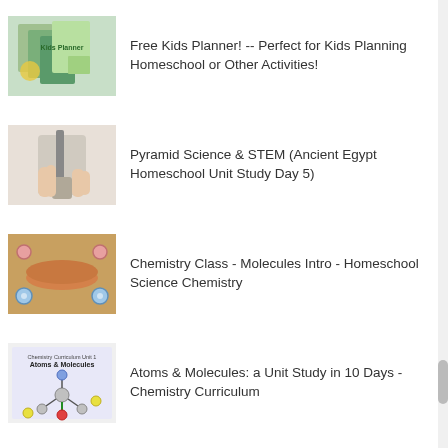Free Kids Planner! -- Perfect for Kids Planning Homeschool or Other Activities!
Pyramid Science & STEM (Ancient Egypt Homeschool Unit Study Day 5)
Chemistry Class - Molecules Intro - Homeschool Science Chemistry
Atoms & Molecules: a Unit Study in 10 Days - Chemistry Curriculum